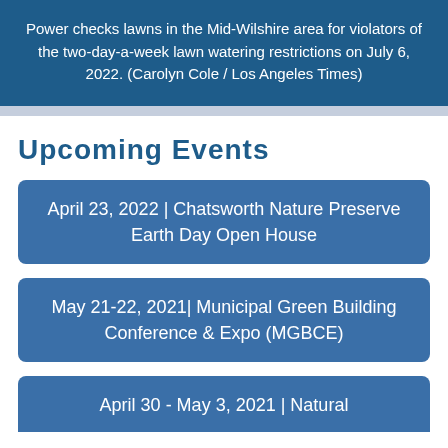Power checks lawns in the Mid-Wilshire area for violators of the two-day-a-week lawn watering restrictions on July 6, 2022. (Carolyn Cole / Los Angeles Times)
Upcoming Events
April 23, 2022 | Chatsworth Nature Preserve Earth Day Open House
May 21-22, 2021| Municipal Green Building Conference & Expo (MGBCE)
April 30 - May 3, 2021 | Natural